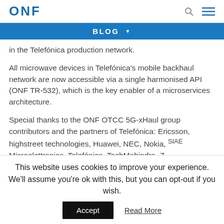ONF
BLOG
in the Telefónica production network.
All microwave devices in Telefónica's mobile backhaul network are now accessible via a single harmonised API (ONF TR-532), which is the key enabler of a microservices architecture.
Special thanks to the ONF OTCC 5G-xHaul group contributors and the partners of Telefónica: Ericsson, highstreet technologies, Huawei, NEC, Nokia, SIAE Microelettronica, Telefónica, TechMahindra, Z...
This website uses cookies to improve your experience. We'll assume you're ok with this, but you can opt-out if you wish.
Accept   Read More